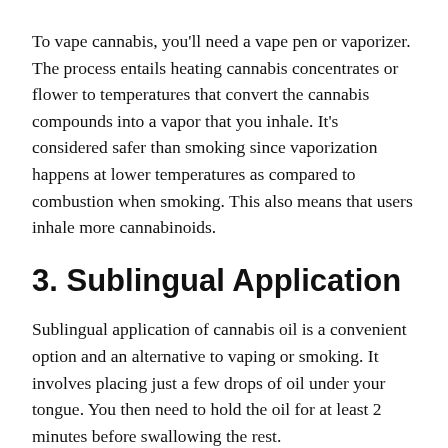To vape cannabis, you'll need a vape pen or vaporizer. The process entails heating cannabis concentrates or flower to temperatures that convert the cannabis compounds into a vapor that you inhale. It's considered safer than smoking since vaporization happens at lower temperatures as compared to combustion when smoking. This also means that users inhale more cannabinoids.
3. Sublingual Application
Sublingual application of cannabis oil is a convenient option and an alternative to vaping or smoking. It involves placing just a few drops of oil under your tongue. You then need to hold the oil for at least 2 minutes before swallowing the rest.
The active ingredients of cannabis are absorbed directly into your bloodstream via the many blood vessels under